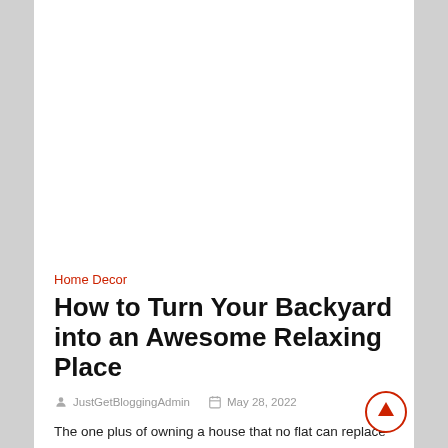[Figure (photo): Large white/light image placeholder area at the top of the article page]
Home Decor
How to Turn Your Backyard into an Awesome Relaxing Place
JustGetBloggingAdmin   May 28, 2022
The one plus of owning a house that no flat can replace having a backyard – is your personal